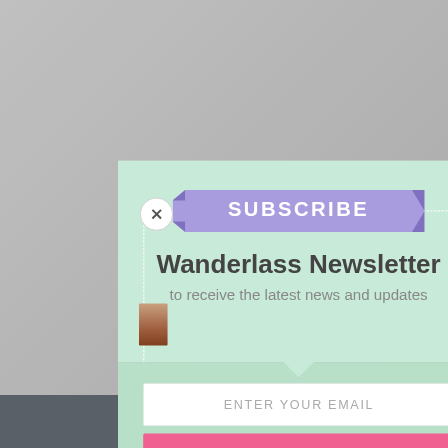[Figure (screenshot): Newsletter subscription modal popup for 'Wanderlass Newsletter' with mint green background, purple ribbon banner reading SUBSCRIBE, email input field, and pink SUBSCRIBE! button. A white circular close button with X is in the top-left corner. A dark gray Share This bar appears at the bottom.]
SUBSCRIBE
Wanderlass Newsletter
to receive the latest news and updates
ENTER YOUR EMAIL
SUBSCRIBE!
Share This